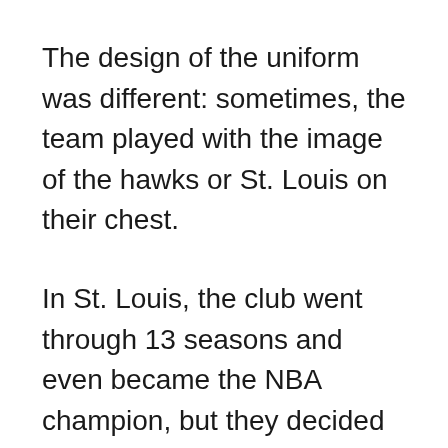The design of the uniform was different: sometimes, the team played with the image of the hawks or St. Louis on their chest.
In St. Louis, the club went through 13 seasons and even became the NBA champion, but they decided to change the license again. It was supposed to be the last move.
So, in 1968, the Hawks moved to Atlanta, where the team still plays today. The team does not have a championship title, but it